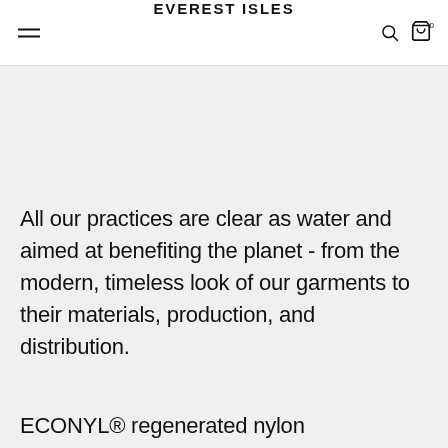EVEREST ISLES
All our practices are clear as water and aimed at benefiting the planet - from the modern, timeless look of our garments to their materials, production, and distribution.
ECONYL® regenerated nylon